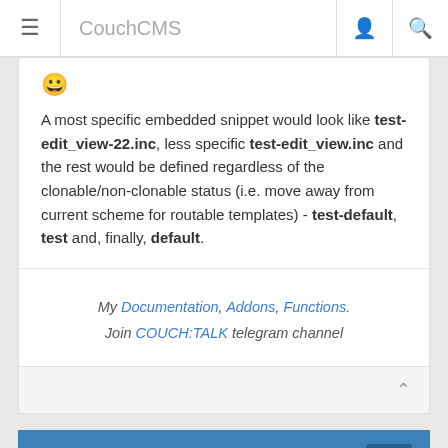CouchCMS
😀

A most specific embedded snippet would look like test-edit_view-22.inc, less specific test-edit_view.inc and the rest would be defined regardless of the clonable/non-clonable status (i.e. move away from current scheme for routable templates) - test-default, test and, finally, default.
My Documentation, Addons, Functions.
Join COUCH:TALK telegram channel
Re: Smart_embed & Routable
OFFLINE